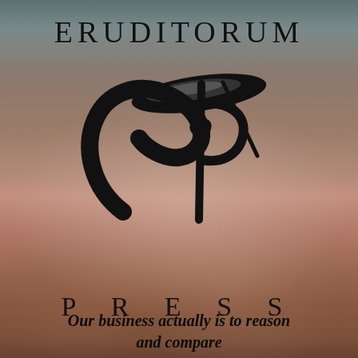ERUDITORUM
[Figure (logo): Eruditorum Press stylized 'EP' logo in black — a sweeping cursive E combined with a P, with flowing calligraphic strokes and a diagonal flourish]
PRESS
Our business actually is to reason and compare